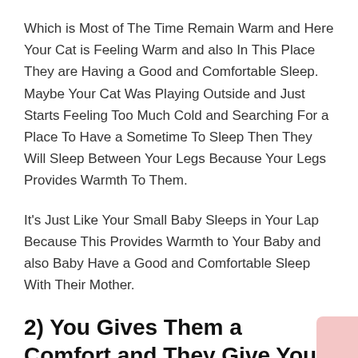Which is Most of The Time Remain Warm and Here Your Cat is Feeling Warm and also In This Place They are Having a Good and Comfortable Sleep. Maybe Your Cat Was Playing Outside and Just Starts Feeling Too Much Cold and Searching For a Place To Have a Sometime To Sleep Then They Will Sleep Between Your Legs Because Your Legs Provides Warmth To Them.
It's Just Like Your Small Baby Sleeps in Your Lap Because This Provides Warmth to Your Baby and also Baby Have a Good and Comfortable Sleep With Their Mother.
2) You Gives Them a Comfort and They Give You
Simply You are Protecting and Growing The Cat as Like